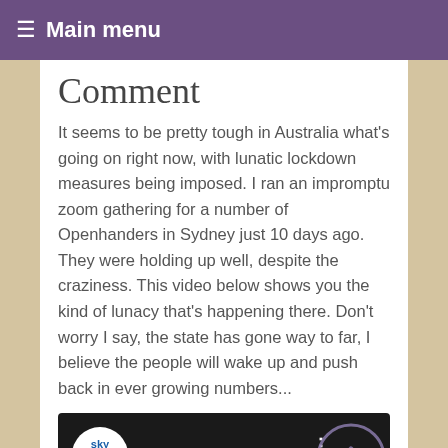≡ Main menu
Comment
It seems to be pretty tough in Australia what's going on right now, with lunatic lockdown measures being imposed. I ran an impromptu zoom gathering for a number of Openhanders in Sydney just 10 days ago. They were holding up well, despite the craziness. This video below shows you the kind of lunacy that's happening there. Don't worry I say, the state has gone way to far, I believe the people will wake up and push back in ever growing numbers...
[Figure (screenshot): YouTube video thumbnail showing Sky News Australia logo and title 'Australia painted as a ‘dyst...' with a dark cityscape background and a scroll-up button overlay]